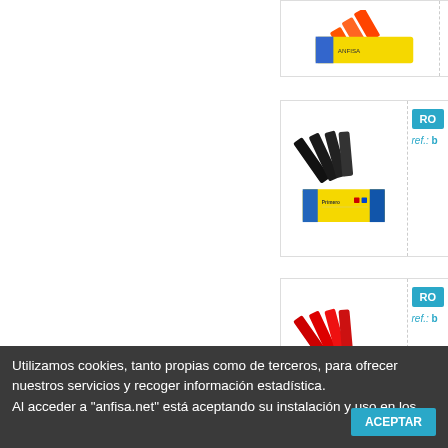[Figure (photo): Product card 1 (partial): orange marker sticks with yellow product box, partially visible at top]
[Figure (photo): Product card 2: black marker refill sticks fanned out with yellow product box below]
[Figure (photo): Product card 3: red marker refill sticks fanned out with yellow product box below]
[Figure (photo): Product card 4 (partial): green marker refill sticks with yellow product box, partially visible at bottom]
Utilizamos cookies, tanto propias como de terceros, para ofrecer nuestros servicios y recoger información estadística. Al acceder a "anfisa.net" está aceptando su instalación y uso en los
ACEPTAR